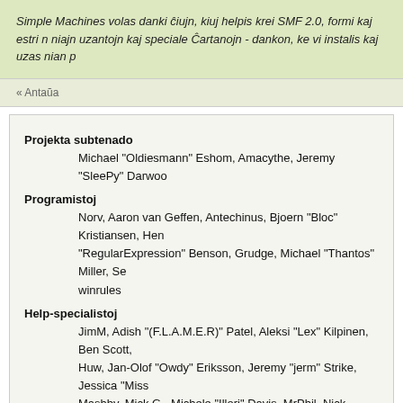Simple Machines volas danki ĉiujn, kiuj helpis krei SMF 2.0, formi kaj estri niajn uzantojn kaj speciale Ĉartanojn - dankon, ke vi instalis kaj uzas nian p
« Antaŭa
Projekta subtenado
Michael "Oldiesmann" Eshom, Amacythe, Jeremy "SleePy" Darwoo
Programistoj
Norv, Aaron van Geffen, Antechinus, Bjoern "Bloc" Kristiansen, Hen "RegularExpression" Benson, Grudge, Michael "Thantos" Miller, Se winrules
Help-specialistoj
JimM, Adish "(F.L.A.M.E.R)" Patel, Aleksi "Lex" Kilpinen, Ben Scott, Huw, Jan-Olof "Owdy" Eriksson, Jeremy "jerm" Strike, Jessica "Miss Mashby, Mick G., Michele "Illori" Davis, MrPhil, Nick "Fizzy" Dyer, Ni "σησω" Poulsen kaj xenovanis
Programistoj de modifajoj
Brad "IchBin™" Grow, 億億1031, Brannon "B" Hall, Bryan "Runic" Dea Gadsdon, Jason "JBlaze" Clemons, Jerry, Jonathan "vbgamer45" Va "Labradoodle-360" Kerle, Nibogo, Niko, Peter "Arantor" Spicer, snor
Aŭtoroj de helpdokumentoj
Joshua "groundup" Dickerson, AngellinaBelle, Daniel Diehl, Dannii V Trainor kaj Peter Duggan
Reklamado
Kindred, Marcus "сσσкιє мσηѕтея" Forsberg, Ralph "[n3rve]" Otowo
Internaciigistoj